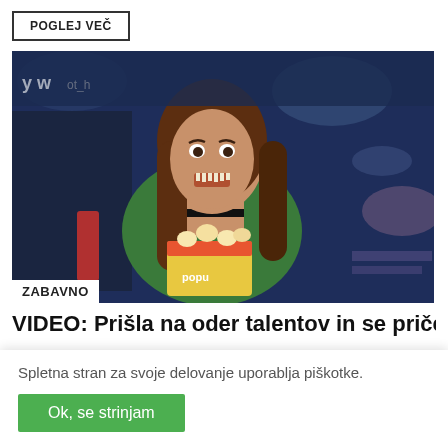POGLEJ VEČ
[Figure (photo): Woman eating popcorn with a surprised/nervous expression on a TV talent show stage, blue stage lighting background. A 'ZABAVNO' label is overlaid at the bottom left of the image.]
VIDEO: Prišla na oder talentov in se pričela
Spletna stran za svoje delovanje uporablja piškotke.
Ok, se strinjam